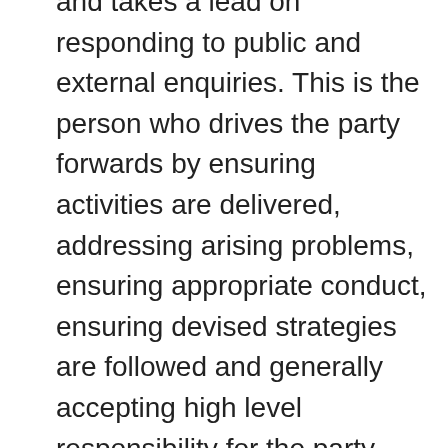and takes a lead on responding to public and external enquiries. This is the person who drives the party forwards by ensuring activities are delivered, addressing arising problems, ensuring appropriate conduct, ensuring devised strategies are followed and generally accepting high level responsibility for the party.
Vice-chair (Martina Weitsch) is a supporting role for the Chair, due to the growth of York Green